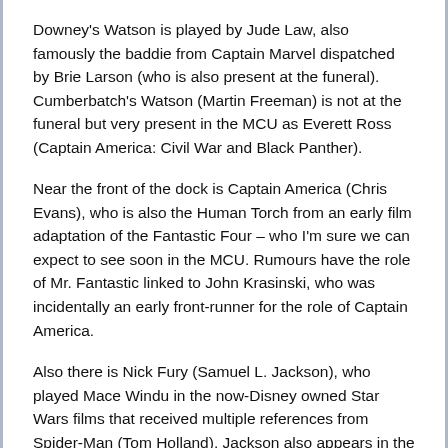Downey's Watson is played by Jude Law, also famously the baddie from Captain Marvel dispatched by Brie Larson (who is also present at the funeral). Cumberbatch's Watson (Martin Freeman) is not at the funeral but very present in the MCU as Everett Ross (Captain America: Civil War and Black Panther).
Near the front of the dock is Captain America (Chris Evans), who is also the Human Torch from an early film adaptation of the Fantastic Four – who I'm sure we can expect to see soon in the MCU. Rumours have the role of Mr. Fantastic linked to John Krasinski, who was incidentally an early front-runner for the role of Captain America.
Also there is Nick Fury (Samuel L. Jackson), who played Mace Windu in the now-Disney owned Star Wars films that received multiple references from Spider-Man (Tom Holland). Jackson also appears in the third instalment of the